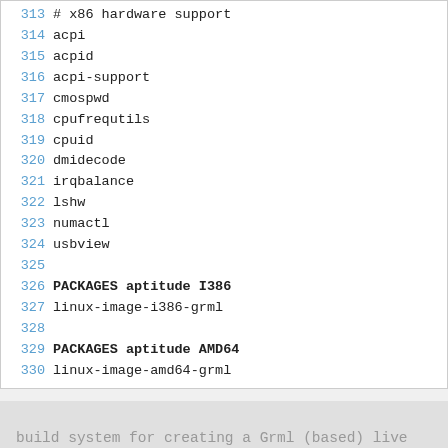313 # x86 hardware support
314 acpi
315 acpid
316 acpi-support
317 cmospwd
318 cpufrequtils
319 cpuid
320 dmidecode
321 irqbalance
322 lshw
323 numactl
324 usbview
325 
326 PACKAGES aptitude I386
327 linux-image-i386-grml
328 
329 PACKAGES aptitude AMD64
330 linux-image-amd64-grml
build system for creating a Grml (based) live system
Atom  RSS